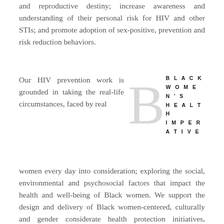and reproductive destiny; increase awareness and understanding of their personal risk for HIV and other STIs; and promote adoption of sex-positive, prevention and risk reduction behaviors.
Our HIV prevention work is grounded in taking the real-life circumstances, faced by real women every day into consideration; exploring the social, environmental and psychosocial factors that impact the health and well-being of Black women. We support the design and delivery of Black women-centered, culturally and gender considerate health protection initiatives, focused on enhancing self-image, self-efficacy and self-determination to build personal agency and ensure bodily autonomy and increase awareness of external impact of structural barriers and social determinants of
[Figure (logo): Black Women's Health Imperative logo: large grey letter B with bold spaced text BLACK WOMEN'S HEALTH IMPERATIVE]